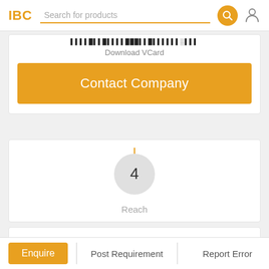IBC | Search for products
[Figure (other): QR code barcode strip at top of card]
Download VCard
Contact Company
[Figure (infographic): Circular gauge/indicator showing number 4 with label Reach]
Reach
[Figure (other): Social media sharing icons: WhatsApp, Telegram, Facebook, Twitter, LinkedIn, Google+, Email]
Enquire | Post Requirement | Report Error